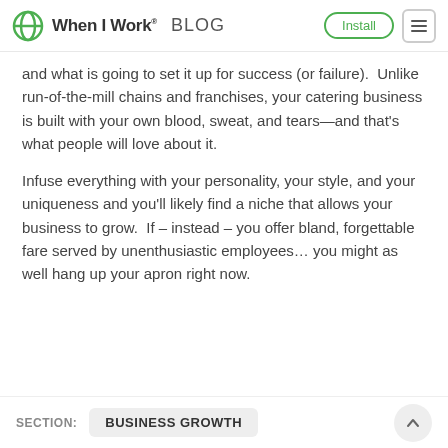When I Work® BLOG
and what is going to set it up for success (or failure).  Unlike run-of-the-mill chains and franchises, your catering business is built with your own blood, sweat, and tears—and that's what people will love about it.
Infuse everything with your personality, your style, and your uniqueness and you'll likely find a niche that allows your business to grow.  If – instead – you offer bland, forgettable fare served by unenthusiastic employees… you might as well hang up your apron right now.
SECTION: BUSINESS GROWTH